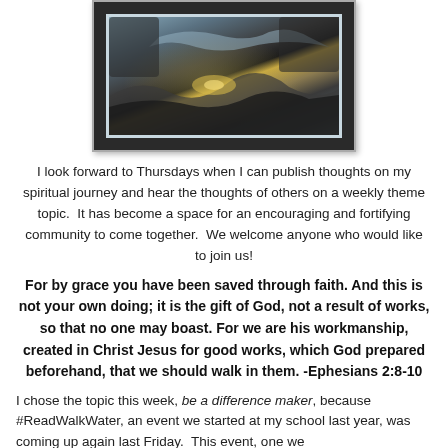[Figure (photo): Framed photograph of a rocky landscape with water and light reflecting, dark stone visible, light-colored framing border, dark outer frame.]
I look forward to Thursdays when I can publish thoughts on my spiritual journey and hear the thoughts of others on a weekly theme topic.  It has become a space for an encouraging and fortifying community to come together.  We welcome anyone who would like to join us!
For by grace you have been saved through faith. And this is not your own doing; it is the gift of God, not a result of works, so that no one may boast. For we are his workmanship, created in Christ Jesus for good works, which God prepared beforehand, that we should walk in them. -Ephesians 2:8-10
I chose the topic this week, be a difference maker, because #ReadWalkWater, an event we started at my school last year, was coming up again last Friday.  This event, one we